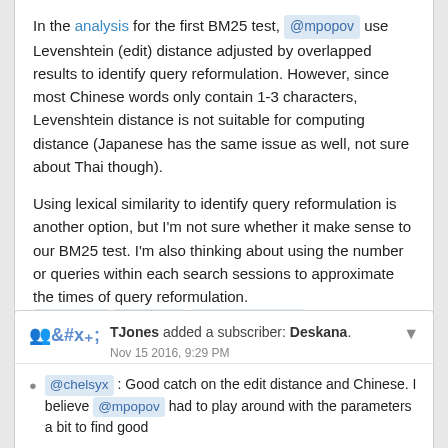In the analysis for the first BM25 test, @mpopov use Levenshtein (edit) distance adjusted by overlapped results to identify query reformulation. However, since most Chinese words only contain 1-3 characters, Levenshtein distance is not suitable for computing distance (Japanese has the same issue as well, not sure about Thai though).
Using lexical similarity to identify query reformulation is another option, but I'm not sure whether it make sense to our BM25 test. I'm also thinking about using the number or queries within each search sessions to approximate the times of query reformulation. @mpopov @TJones @EBernhardson any comments or suggestions? Thanks!
TJones added a subscriber: Deskana.
Nov 15 2016, 9:29 PM
@chelsyx : Good catch on the edit distance and Chinese. I believe @mpopov had to play around with the parameters a bit to find good